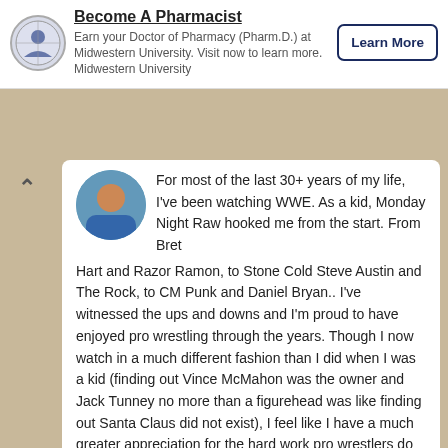[Figure (other): Advertisement banner for Midwestern University pharmacy program with logo and Learn More button]
Become A Pharmacist
Earn your Doctor of Pharmacy (Pharm.D.) at Midwestern University. Visit now to learn more. Midwestern University
For most of the last 30+ years of my life, I've been watching WWE. As a kid, Monday Night Raw hooked me from the start. From Bret Hart and Razor Ramon, to Stone Cold Steve Austin and The Rock, to CM Punk and Daniel Bryan.. I've witnessed the ups and downs and I'm proud to have enjoyed pro wrestling through the years. Though I now watch in a much different fashion than I did when I was a kid (finding out Vince McMahon was the owner and Jack Tunney no more than a figurehead was like finding out Santa Claus did not exist), I feel like I have a much greater appreciation for the hard work pro wrestlers do and the things they sacrifice to entertain us. It's still real to me, dammit!
View all posts by Joshua Schlag →